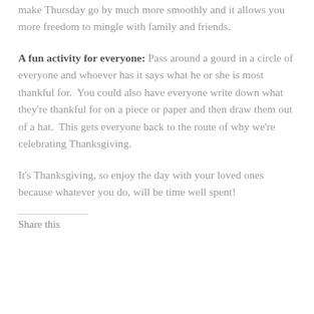make Thursday go by much more smoothly and it allows you more freedom to mingle with family and friends.
A fun activity for everyone: Pass around a gourd in a circle of everyone and whoever has it says what he or she is most thankful for.  You could also have everyone write down what they're thankful for on a piece or paper and then draw them out of a hat.  This gets everyone back to the route of why we're celebrating Thanksgiving.
It's Thanksgiving, so enjoy the day with your loved ones because whatever you do, will be time well spent!
Share this